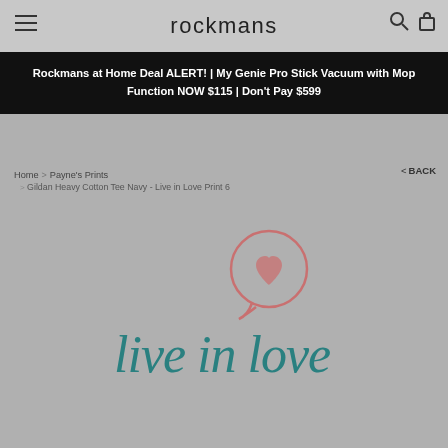rockmans
Rockmans at Home Deal ALERT! | My Genie Pro Stick Vacuum with Mop Function NOW $115 | Don't Pay $599
Home > Payne's Prints > Gildan Heavy Cotton Tee Navy - Live in Love Print 6
< BACK
[Figure (illustration): Product image showing 'live in love' text in teal handwriting font with a pink speech bubble icon containing a heart above it, on a grey background.]